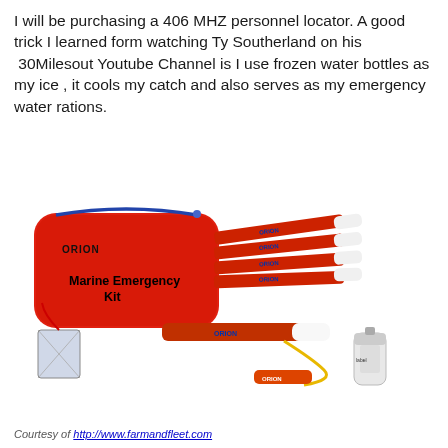I will be purchasing a 406 MHZ personnel locator. A good trick I learned form watching Ty Southerland on his 30Milesout Youtube Channel is I use frozen water bottles as my ice , it cools my catch and also serves as my emergency water rations.
[Figure (photo): Photo of an Orion Marine Emergency Kit — a red zippered case labeled 'Marine Emergency Kit', surrounded by signal flares, a flashlight, a whistle, rope, and a small spray can, all laid out on a white background.]
Courtesy of http://www.farmandfleet.com